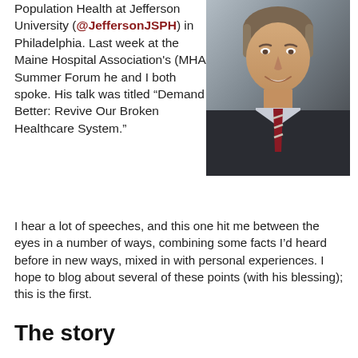Population Health at Jefferson University (@JeffersonJSPH) in Philadelphia. Last week at the Maine Hospital Association's (MHA) Summer Forum he and I both spoke. His talk was titled “Demand Better: Revive Our Broken Healthcare System.”
[Figure (photo): Headshot of a middle-aged man in a dark suit with striped tie, smiling, against a grey background.]
I hear a lot of speeches, and this one hit me between the eyes in a number of ways, combining some facts I’d heard before in new ways, mixed in with personal experiences. I hope to blog about several of these points (with his blessing); this is the first.
The story